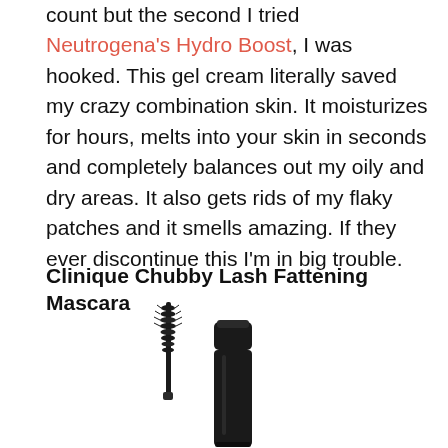count but the second I tried Neutrogena's Hydro Boost, I was hooked. This gel cream literally saved my crazy combination skin. It moisturizes for hours, melts into your skin in seconds and completely balances out my oily and dry areas. It also gets rids of my flaky patches and it smells amazing. If they ever discontinue this I'm in big trouble.
Clinique Chubby Lash Fattening Mascara
[Figure (photo): Clinique Chubby Lash Fattening Mascara product photo showing a black mascara tube with the wand applicator pulled out, bristled brush visible above the open tube, on white background]